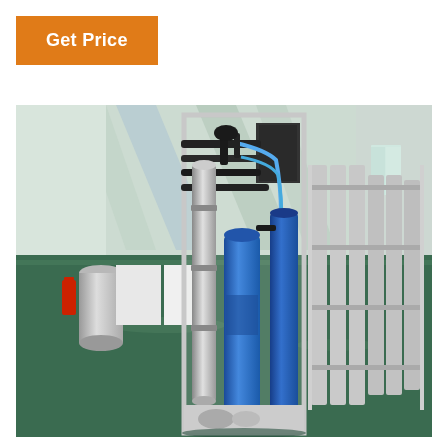Get Price
[Figure (photo): Industrial water treatment / reverse osmosis equipment unit with blue cylindrical filter tanks mounted on a stainless steel frame, photographed inside a large factory warehouse with green epoxy floor. Multiple similar units visible in the background on the right side.]